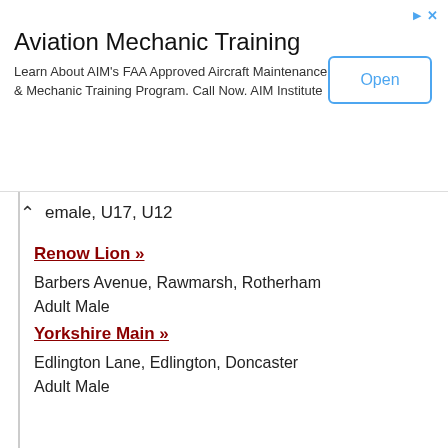[Figure (other): Advertisement banner for Aviation Mechanic Training with Open button]
female, U17, U12
Renow Lion »
Barbers Avenue, Rawmarsh, Rotherham
Adult Male
Yorkshire Main »
Edlington Lane, Edlington, Doncaster
Adult Male